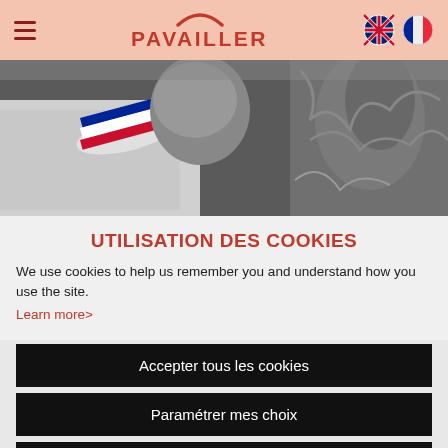PAVAILLER — Navigation header with hamburger menu and language icons
[Figure (photo): Black and white photo of a baker/chef wearing a French tricolor collar, holding bread close to face]
UTILISATION DES COOKIES
We use cookies to help us remember you and understand how you use the site.
Learn more>
Accepter tous les cookies
Paramétrer mes choix
Continuer sans accepter